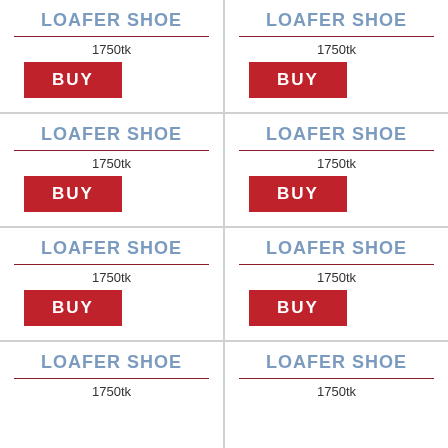LOAFER SHOE
1750tk
LOAFER SHOE
1750tk
LOAFER SHOE
1750tk
LOAFER SHOE
1750tk
LOAFER SHOE
1750tk
LOAFER SHOE
1750tk
LOAFER SHOE
1750tk
LOAFER SHOE
1750tk